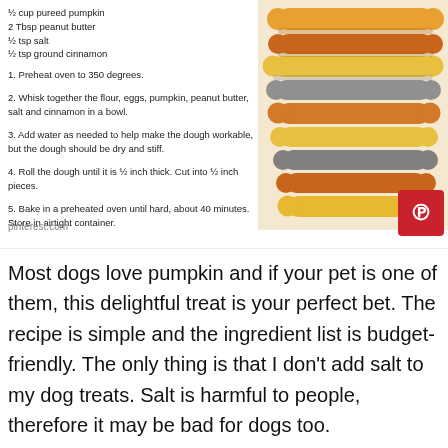½ cup pureed pumpkin
2 Tbsp peanut butter
½ tsp salt
½ tsp ground cinnamon
1. Preheat oven to 350 degrees.
2. Whisk together the flour, eggs, pumpkin, peanut butter, salt and cinnamon in a bowl.
3. Add water as needed to help make the dough workable, but the dough should be dry and stiff.
4. Roll the dough until it is ½ inch thick. Cut into ½ inch pieces.
5. Bake in a preheated oven until hard, about 40 minutes. Store in airtight container.
[Figure (photo): Stack of colorful dog bone treats in orange, yellow, and gray colors]
pinterest.com
Most dogs love pumpkin and if your pet is one of them, this delightful treat is your perfect bet. The recipe is simple and the ingredient list is budget-friendly. The only thing is that I don't add salt to my dog treats. Salt is harmful to people, therefore it may be bad for dogs too.